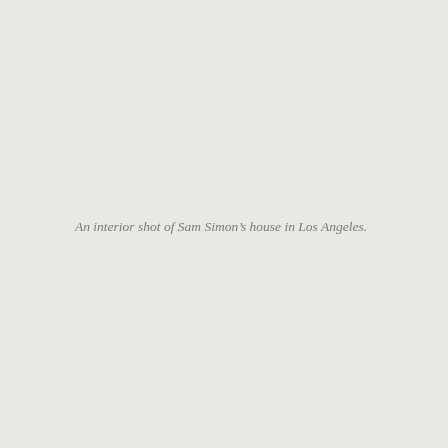An interior shot of Sam Simon’s house in Los Angeles.